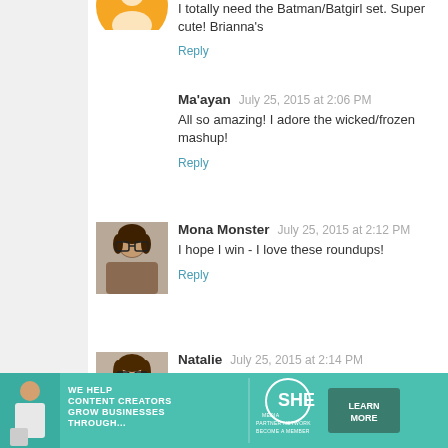I totally need the Batman/Batgirl set. Super cute! Brianna's
Reply
Ma'ayan  July 25, 2015 at 2:06 PM
All so amazing! I adore the wicked/frozen mashup!
Reply
Mona Monster  July 25, 2015 at 2:12 PM
I hope I win - I love these roundups!
Reply
Natalie  July 25, 2015 at 2:14 PM
Those travel posters are gorgeous! I love seeing the art you
Natalie (QSOgirl)
Reply
Forensic  July 25, 2015 at 2:21 PM
[Figure (infographic): SHE Media ad banner: WE HELP CONTENT CREATORS GROW BUSINESSES THROUGH... with SHE Partner Network logo and LEARN MORE button]